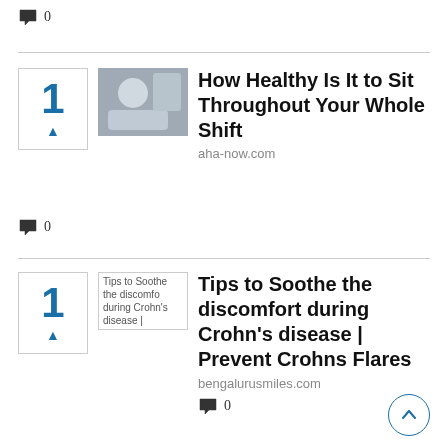💬 0
1 ▲ How Healthy Is It to Sit Throughout Your Whole Shift aha-now.com 💬 0
1 ▲ Tips to Soothe the discomfort during Crohn's disease | Prevent Crohns Flares bengalurusmiles.com 💬 0